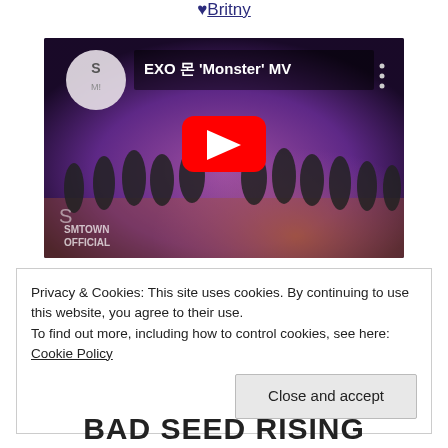♥Britny
[Figure (screenshot): YouTube video thumbnail showing EXO '몬스터 Monster' MV on SMTOWN OFFICIAL channel. Group of dancers on stage with purple/orange lighting. Red YouTube play button in center. SM logo in top left circle and bottom left watermark.]
Privacy & Cookies: This site uses cookies. By continuing to use this website, you agree to their use.
To find out more, including how to control cookies, see here: Cookie Policy

Close and accept
BAD SEED RISING